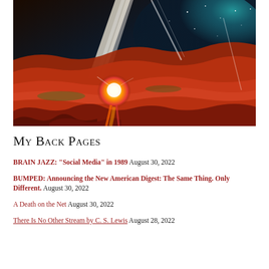[Figure (illustration): Science fiction illustration showing a rocket or spacecraft launching or crashing into a reddish alien landscape (Mars-like terrain), with a bright explosion/fire ball at the bottom and a starry teal/green nebula in the upper right background. Orange-red rocky terrain dominates the foreground.]
My Back Pages
BRAIN JAZZ: “Social Media” in 1989 August 30, 2022
BUMPED: Announcing the New American Digest: The Same Thing. Only Different. August 30, 2022
A Death on the Net August 30, 2022
There Is No Other Stream by C. S. Lewis August 28, 2022